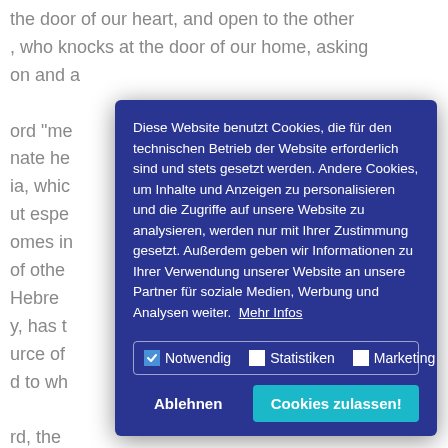the door of our heart, and open to the other , who knocks at the door of our home, asking on and a ord "me nate he ia, whic ut espe omes in of othe Hebre y, has t urce of d to wh rd, the which, o enge: " ow no d n thoug (Is 49:1 grow heedless and indifferent. We distance
Diese Website benutzt Cookies, die für den technischen Betrieb der Website erforderlich sind und stets gesetzt werden. Andere Cookies, um Inhalte und Anzeigen zu personalisieren und die Zugriffe auf unsere Website zu analysieren, werden nur mit Ihrer Zustimmung gesetzt. Außerdem geben wir Informationen zu Ihrer Verwendung unserer Website an unsere Partner für soziale Medien, Werbung und Analysen weiter.  Mehr Infos
Notwendig   Statistiken   Marketing
Ablehnen
Cookies zulassen!